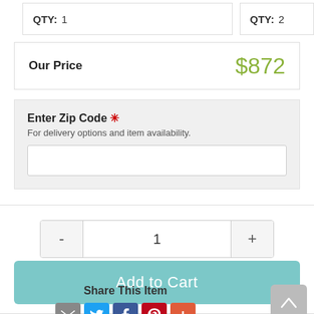QTY: 1
QTY: 2
Our Price  $872
Enter Zip Code * For delivery options and item availability.
- 1 +
Add to Cart
Share This Item